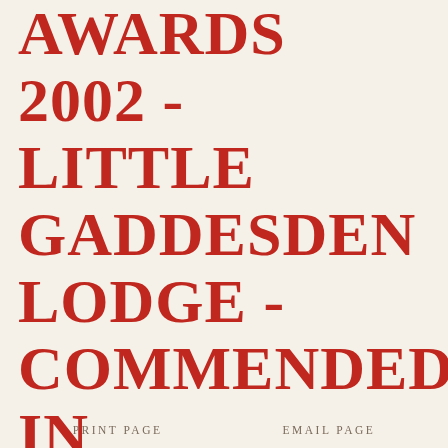AWARDS 2002 - LITTLE GADDESDEN LODGE - COMMENDED IN RESTORATION
PRINT PAGE    EMAIL PAGE